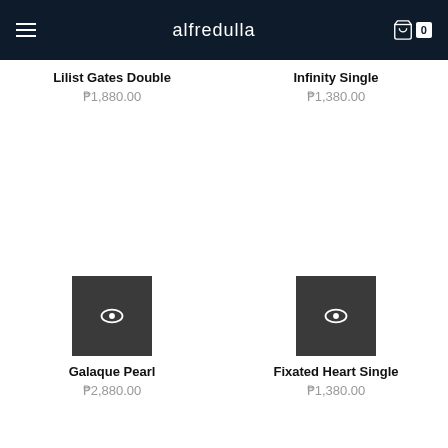alfredulla
Lilist Gates Double ₱1,880.00
Infinity Single ₱1,380.00
[Figure (illustration): Quick view button with eye icon for Galaque Pearl product]
Galaque Pearl ₱2,880.00
[Figure (illustration): Quick view button with eye icon for Fixated Heart Single product]
Fixated Heart Single ₱1,380.00